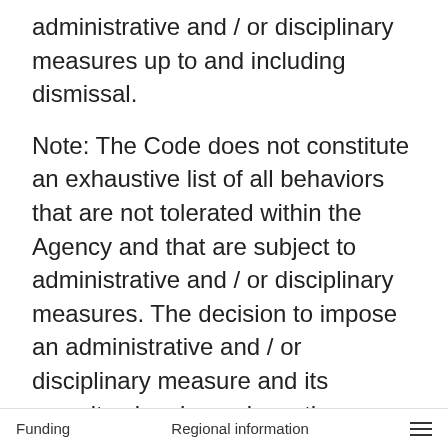administrative and / or disciplinary measures up to and including dismissal.
Note: The Code does not constitute an exhaustive list of all behaviors that are not tolerated within the Agency and that are subject to administrative and / or disciplinary measures. The decision to impose an administrative and / or disciplinary measure and its severity also depends on the circumstances of each situation.
2. Public sector values and
Funding    Regional information